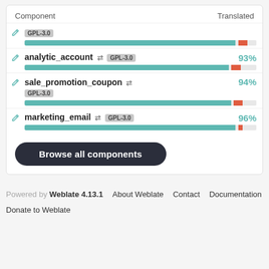| Component | Translated |
| --- | --- |
| GPL-3.0 | ~97% |
| analytic_account ↔ GPL-3.0 | 93% |
| sale_promotion_coupon ↔ GPL-3.0 | 94% |
| marketing_email ↔ GPL-3.0 | 96% |
Browse all components
Powered by Weblate 4.13.1   About Weblate   Contact   Documentation   Donate to Weblate